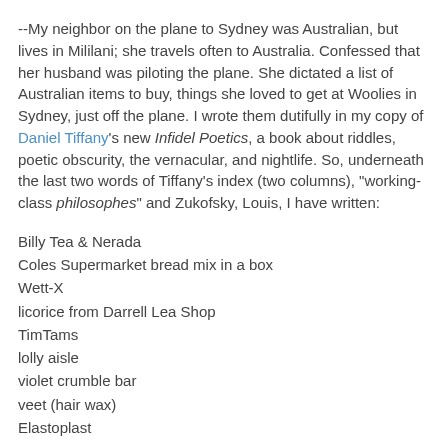--My neighbor on the plane to Sydney was Australian, but lives in Mililani; she travels often to Australia. Confessed that her husband was piloting the plane. She dictated a list of Australian items to buy, things she loved to get at Woolies in Sydney, just off the plane. I wrote them dutifully in my copy of Daniel Tiffany's new Infidel Poetics, a book about riddles, poetic obscurity, the vernacular, and nightlife. So, underneath the last two words of Tiffany's index (two columns), "working-class philosophes" and Zukofsky, Louis, I have written:
Billy Tea & Nerada
Coles Supermarket bread mix in a box
Wett-X
licorice from Darrell Lea Shop
TimTams
lolly aisle
violet crumble bar
veet (hair wax)
Elastoplast